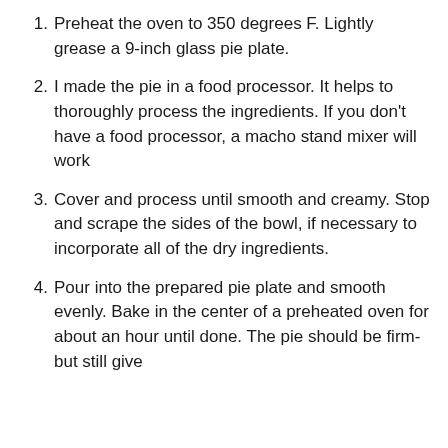Preheat the oven to 350 degrees F. Lightly grease a 9-inch glass pie plate.
I made the pie in a food processor. It helps to thoroughly process the ingredients. If you don't have a food processor, a macho stand mixer will work
Cover and process until smooth and creamy. Stop and scrape the sides of the bowl, if necessary to incorporate all of the dry ingredients.
Pour into the prepared pie plate and smooth evenly. Bake in the center of a preheated oven for about an hour until done. The pie should be firm- but still give